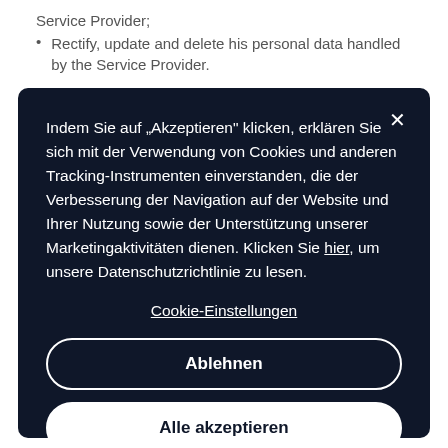Service Provider;
Rectify, update and delete his personal data handled by the Service Provider.
[Figure (screenshot): Cookie consent overlay dialog with dark navy background. Contains German-language text explaining cookie usage, a close button (×), a 'Cookie-Einstellungen' link, an 'Ablehnen' (reject) button with white border, and an 'Alle akzeptieren' (accept all) button with white fill.]